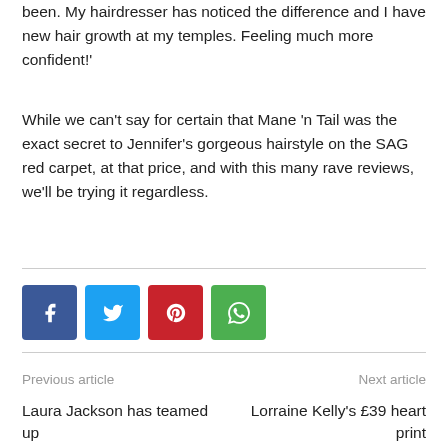been. My hairdresser has noticed the difference and I have new hair growth at my temples. Feeling much more confident!'
While we can't say for certain that Mane 'n Tail was the exact secret to Jennifer's gorgeous hairstyle on the SAG red carpet, at that price, and with this many rave reviews, we'll be trying it regardless.
[Figure (infographic): Social sharing buttons: Facebook (blue), Twitter (light blue), Pinterest (red), WhatsApp (green)]
Previous article
Next article
Laura Jackson has teamed up
Lorraine Kelly's £39 heart print